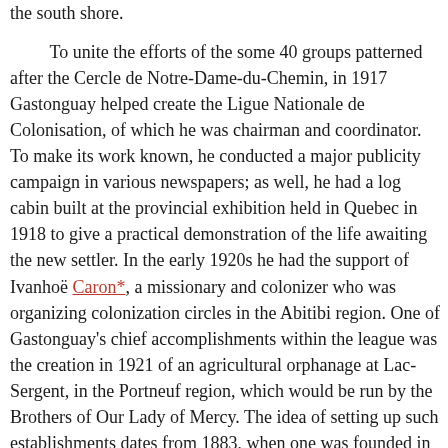the south shore.

To unite the efforts of the some 40 groups patterned after the Cercle de Notre-Dame-du-Chemin, in 1917 Gastonguay helped create the Ligue Nationale de Colonisation, of which he was chairman and coordinator. To make its work known, he conducted a major publicity campaign in various newspapers; as well, he had a log cabin built at the provincial exhibition held in Quebec in 1918 to give a practical demonstration of the life awaiting the new settler. In the early 1920s he had the support of Ivanhoë Caron*, a missionary and colonizer who was organizing colonization circles in the Abitibi region. One of Gastonguay's chief accomplishments within the league was the creation in 1921 of an agricultural orphanage at Lac-Sergent, in the Portneuf region, which would be run by the Brothers of Our Lady of Mercy. The idea of setting up such establishments dates from 1883, when one was founded in Montfort. Here poor children and orphans were taught the rudiments of the settler's life in order to encourage a return to the